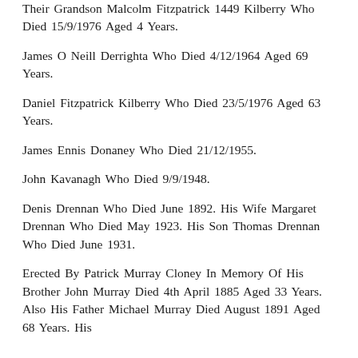Their Grandson Malcolm Fitzpatrick 1449 Kilberry Who Died 15/9/1976 Aged 4 Years.
James O Neill Derrighta Who Died 4/12/1964 Aged 69 Years.
Daniel Fitzpatrick Kilberry Who Died 23/5/1976 Aged 63 Years.
James Ennis Donaney Who Died 21/12/1955.
John Kavanagh Who Died 9/9/1948.
Denis Drennan Who Died June 1892. His Wife Margaret Drennan Who Died May 1923. His Son Thomas Drennan Who Died June 1931.
Erected By Patrick Murray Cloney In Memory Of His Brother John Murray Died 4th April 1885 Aged 33 Years. Also His Father Michael Murray Died August 1891 Aged 68 Years. His